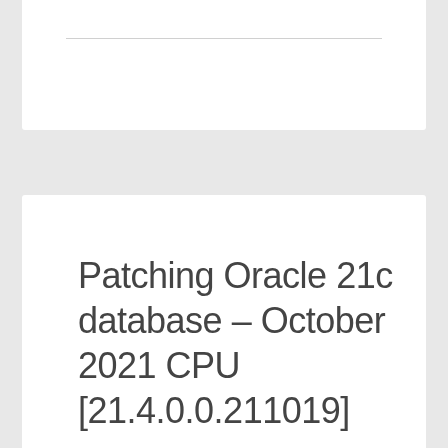Patching Oracle 21c database – October 2021 CPU [21.4.0.0.211019]
OCTOBER 23, 2021
ARCSDEGEO